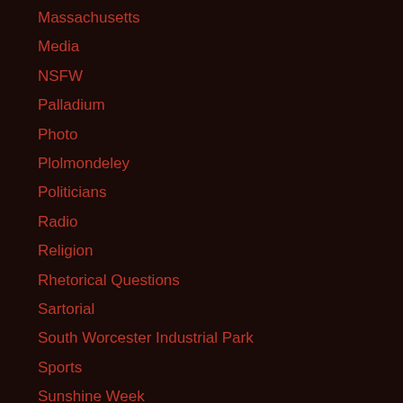Massachusetts
Media
NSFW
Palladium
Photo
Plolmondeley
Politicians
Radio
Religion
Rhetorical Questions
Sartorial
South Worcester Industrial Park
Sports
Sunshine Week
Telegram and Gazette